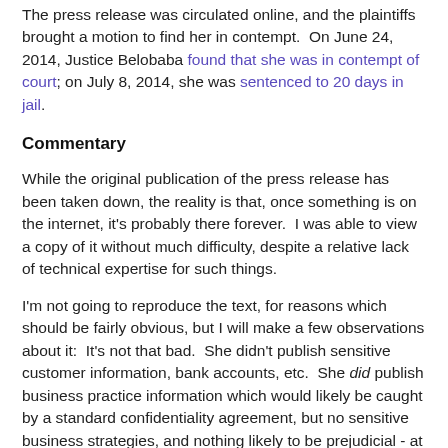The press release was circulated online, and the plaintiffs brought a motion to find her in contempt.  On June 24, 2014, Justice Belobaba found that she was in contempt of court; on July 8, 2014, she was sentenced to 20 days in jail.
Commentary
While the original publication of the press release has been taken down, the reality is that, once something is on the internet, it's probably there forever.  I was able to view a copy of it without much difficulty, despite a relative lack of technical expertise for such things.
I'm not going to reproduce the text, for reasons which should be fairly obvious, but I will make a few observations about it:  It's not that bad.  She didn't publish sensitive customer information, bank accounts, etc.  She did publish business practice information which would likely be caught by a standard confidentiality agreement, but no sensitive business strategies, and nothing likely to be prejudicial - at least, not from a confidentiality standpoint.